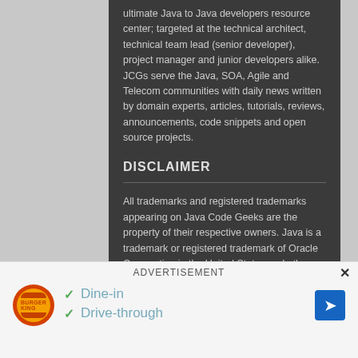ultimate Java to Java developers resource center; targeted at the technical architect, technical team lead (senior developer), project manager and junior developers alike. JCGs serve the Java, SOA, Agile and Telecom communities with daily news written by domain experts, articles, tutorials, reviews, announcements, code snippets and open source projects.
DISCLAIMER
All trademarks and registered trademarks appearing on Java Code Geeks are the property of their respective owners. Java is a trademark or registered trademark of Oracle Corporation in the United States and other countries. Examples Java Code Geeks is not connected to Oracle Corporation and is not sponsored by Oracle Corporation.
[Figure (other): Social media icons row (RSS, Facebook, Twitter, LinkedIn, and other icons) at bottom of content area]
ADVERTISEMENT
[Figure (photo): Burger King advertisement showing logo with Dine-in and Drive-through checkmarks, and a navigation arrow icon]